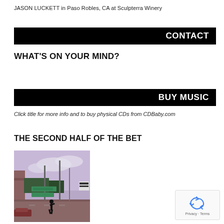JASON LUCKETT in Paso Robles, CA at Sculpterra Winery
CONTACT
WHAT'S ON YOUR MIND?
BUY MUSIC
Click title for more info and to buy physical CDs from CDBaby.com
THE SECOND HALF OF THE BET
[Figure (photo): Album cover photo: person crossing a street intersection with city buildings, green street signs, and a marquee sign in the background. Purple/pink sky tone.]
[Figure (other): reCAPTCHA widget with recycling arrow icon and Privacy/Terms text]